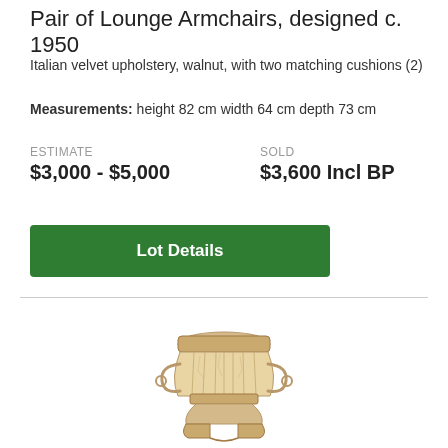Pair of Lounge Armchairs, designed c. 1950
Italian velvet upholstery, walnut, with two matching cushions (2)
Measurements: height 82 cm width 64 cm depth 73 cm
ESTIMATE
$3,000 - $5,000
SOLD
$3,600 Incl BP
Lot Details
[Figure (photo): Photograph of an ornate urn or vase with a fluted body, scroll handles, and a pedestal base, appearing to be made of crackled stone or ceramic material in cream/beige tones with gold metallic accents.]